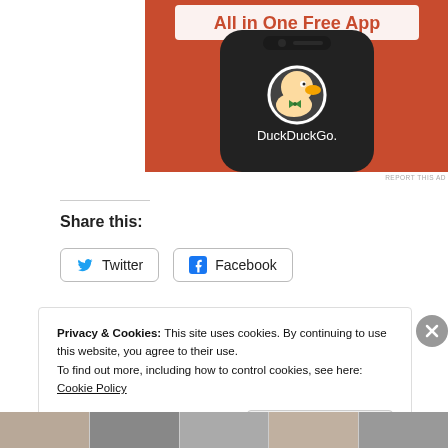[Figure (screenshot): DuckDuckGo advertisement showing a smartphone with the DuckDuckGo app logo and the text 'All in One Free App' on an orange background.]
REPORT THIS AD
Share this:
Twitter Facebook
Privacy & Cookies: This site uses cookies. By continuing to use this website, you agree to their use.
To find out more, including how to control cookies, see here: Cookie Policy
Close and accept